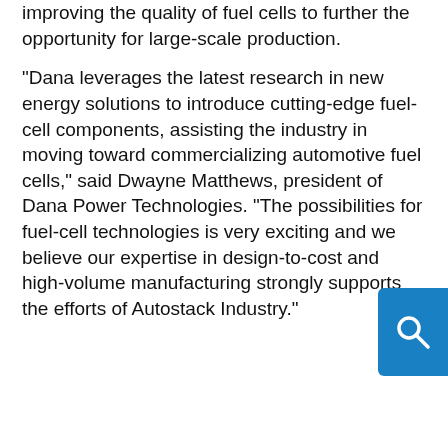improving the quality of fuel cells to further the opportunity for large-scale production.
“Dana leverages the latest research in new energy solutions to introduce cutting-edge fuel-cell components, assisting the industry in moving toward commercializing automotive fuel cells,” said Dwayne Matthews, president of Dana Power Technologies. “The possibilities for fuel-cell technologies is very exciting and we believe our expertise in design-to-cost and high-volume manufacturing strongly supports the efforts of Autostack Industry.”
[Figure (other): Blue search icon button in top right corner]
We use cookies and other technologies
This site uses cookies. By continuing to use this site, closing this banner, or clicking "I Agree", you agree to the use of cookies. Read our cookies policy and privacy statement for more information.
I agree
More information